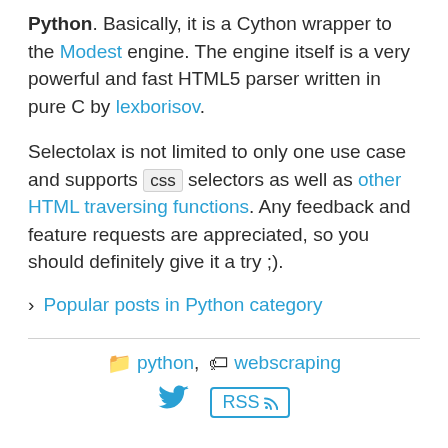Python. Basically, it is a Cython wrapper to the Modest engine. The engine itself is a very powerful and fast HTML5 parser written in pure C by lexborisov.
Selectolax is not limited to only one use case and supports css selectors as well as other HTML traversing functions. Any feedback and feature requests are appreciated, so you should definitely give it a try ;).
> Popular posts in Python category
📁 python,  🏷 webscraping
Twitter icon | RSS icon